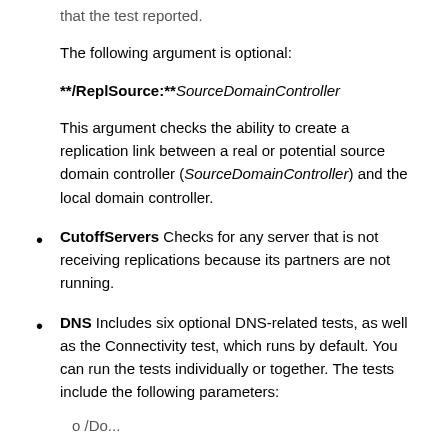that the test reported.
The following argument is optional:
**/ReplSource:**SourceDomainController
This argument checks the ability to create a replication link between a real or potential source domain controller (SourceDomainController) and the local domain controller.
CutoffServers Checks for any server that is not receiving replications because its partners are not running.
DNS Includes six optional DNS-related tests, as well as the Connectivity test, which runs by default. You can run the tests individually or together. The tests include the following parameters:
o /Do...